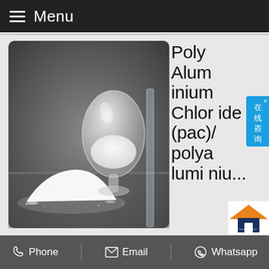≡ Menu
[Figure (photo): Black and white photo of a white powder pile and a glass vessel containing white powder (Poly Aluminium Chloride / PAC) against a dark background]
Poly Aluminium Chloride (pac)/polyaluminiu...
[Figure (infographic): Chinese online chat badge (在线咨询) in blue]
[Figure (logo): Orange and dark blue house/home logo icon]
Phone   Email   Whatsapp